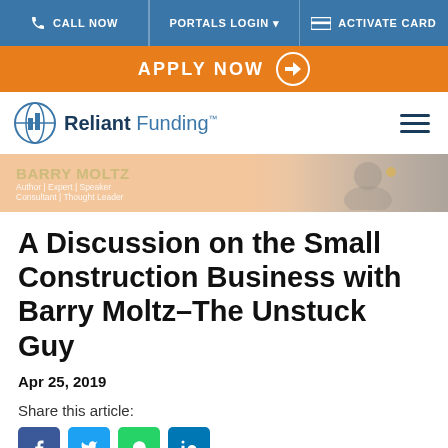CALL NOW | PORTALS LOGIN | ACTIVATE CARD
APPLY NOW
[Figure (logo): Reliant Funding logo with blue globe/building icon]
[Figure (photo): Banner with Barry Moltz text overlay - Author | Expert | Speaker | Consultant | Thought Leader - and a person in background]
A Discussion on the Small Construction Business with Barry Moltz-The Unstuck Guy
Apr 25, 2019
Share this article: